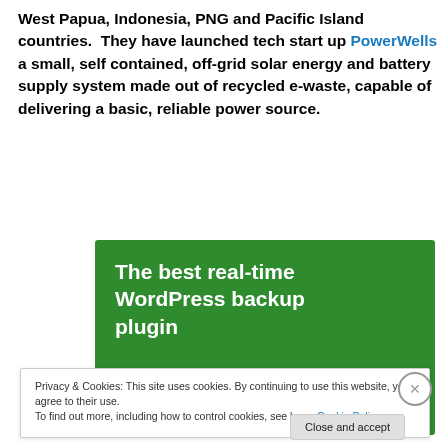West Papua, Indonesia, PNG and Pacific Island countries.  They have launched tech start up PowerWells a small, self contained, off-grid solar energy and battery supply system made out of recycled e-waste, capable of delivering a basic, reliable power source.
[Figure (screenshot): Green advertisement banner with white bold text reading: The best real-time WordPress backup plugin]
Privacy & Cookies: This site uses cookies. By continuing to use this website, you agree to their use.
To find out more, including how to control cookies, see here: Cookie Policy
Close and accept